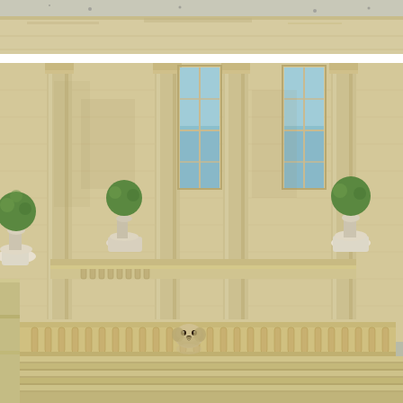[Figure (photo): Top strip of a classical stone building facade showing a weathered stone ledge or cornice against a pale sky, with some bird markings visible.]
[Figure (photo): Classical Georgian or Neoclassical stone mansion facade with sandstone columns and pilasters, tall sash windows with blue-tinted glass divided into panes, decorative balustraded balcony with white stone urns holding round topiary balls, and a small fluffy dog (Shih Tzu or similar breed) peering over the lower balustrade above stone steps in the foreground.]